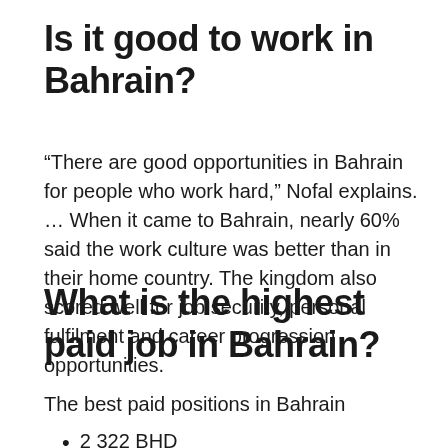Is it good to work in Bahrain?
“There are good opportunities in Bahrain for people who work hard,” Nofal explains. … When it came to Bahrain, nearly 60% said the work culture was better than in their home country. The kingdom also scored well for job security, personal fulfilment and career progression opportunities.
What is the highest paid job in Bahrain?
The best paid positions in Bahrain
2 322 BHD